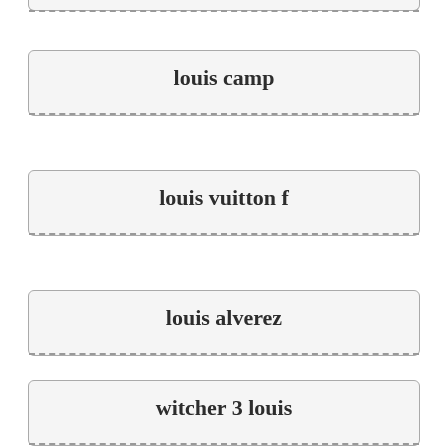louis camp
louis vuitton f
louis alverez
witcher 3 louis